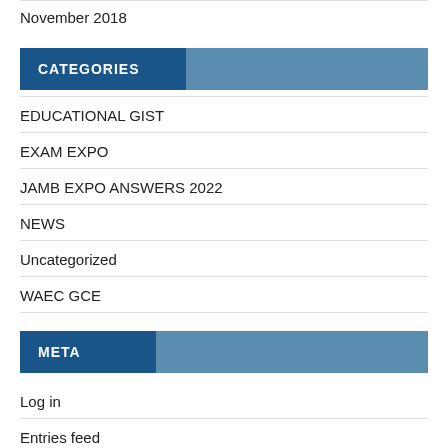November 2018
CATEGORIES
EDUCATIONAL GIST
EXAM EXPO
JAMB EXPO ANSWERS 2022
NEWS
Uncategorized
WAEC GCE
META
Log in
Entries feed